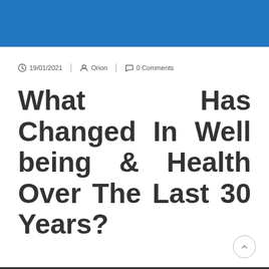19/01/2021 | Orion | 0 Comments
What Has Changed In Well being & Health Over The Last 30 Years?